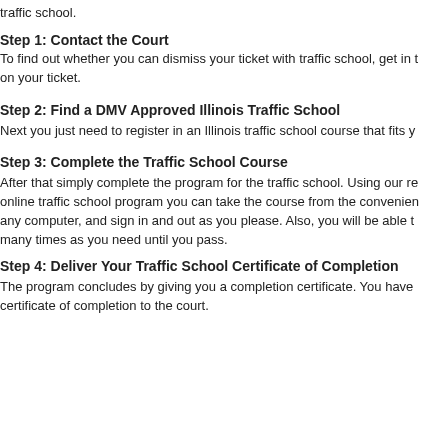traffic school.
Step 1: Contact the Court
To find out whether you can dismiss your ticket with traffic school, get in touch with the court listed on your ticket.
Step 2: Find a DMV Approved Illinois Traffic School
Next you just need to register in an Illinois traffic school course that fits your needs.
Step 3: Complete the Traffic School Course
After that simply complete the program for the traffic school. Using our recommended online traffic school program you can take the course from the convenience of any computer, and sign in and out as you please. Also, you will be able to retake the test as many times as you need until you pass.
Step 4: Deliver Your Traffic School Certificate of Completion
The program concludes by giving you a completion certificate. You have to deliver the certificate of completion to the court.